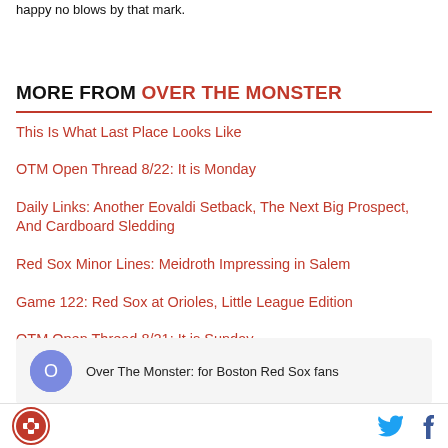happy no blows by that mark.
MORE FROM OVER THE MONSTER
This Is What Last Place Looks Like
OTM Open Thread 8/22: It is Monday
Daily Links: Another Eovaldi Setback, The Next Big Prospect, And Cardboard Sledding
Red Sox Minor Lines: Meidroth Impressing in Salem
Game 122: Red Sox at Orioles, Little League Edition
OTM Open Thread 8/21: It is Sunday
Over The Monster: for Boston Red Sox fans
Social links: Twitter, Facebook